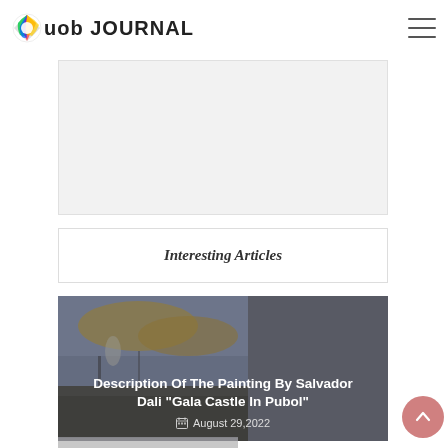uob JOURNAL
[Figure (other): Advertisement placeholder box, light gray background]
Interesting Articles
[Figure (photo): Article card with painting background (Salvador Dali style landscape, dark tones), overlay with title: Description Of The Painting By Salvador Dali "Gala Castle In Pubol", date: August 29,2022]
Description Of The Painting By Salvador Dali "Gala Castle In Pubol"
August 29,2022